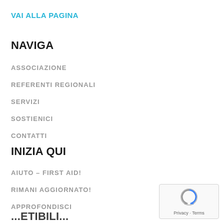VAI ALLA PAGINA
NAVIGA
ASSOCIAZIONE
REFERENTI REGIONALI
SERVIZI
SOSTIENICI
CONTATTI
INIZIA QUI
AIUTO – FIRST AID!
RIMANI AGGIORNATO!
APPROFONDISCI
[Figure (logo): reCAPTCHA logo with Privacy and Terms text]
...ETIBILI...